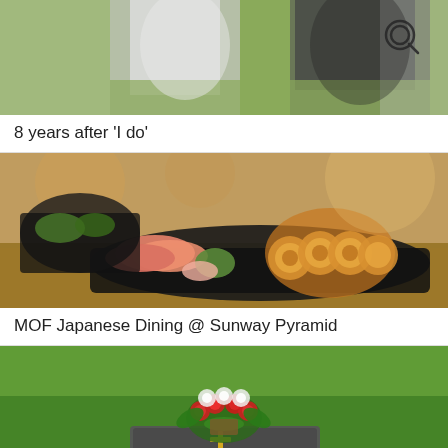[Figure (photo): Partial photo of two people standing outdoors on grass, one in white shirt and one in black, with a search icon (magnifying glass) in top-right corner. Image is cropped at top.]
8 years after 'I do'
[Figure (photo): Close-up photo of Japanese sushi/sashimi platter on a dark tray on a wooden table, with California rolls and sashimi slices, blurred restaurant background.]
MOF Japanese Dining @ Sunway Pyramid
[Figure (photo): Photo of a grave marker/memorial plaque on green grass with a bouquet of red and white artificial flowers. The dark plaque has a gold cross and text reading 'As you were a little while, in our hearts forever'.]